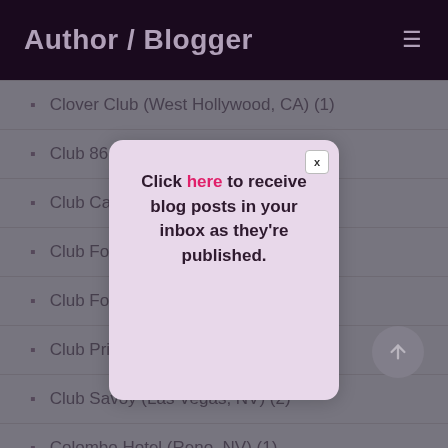Author / Blogger
Clover Club (West Hollywood, CA) (1)
Club 86 (Miami, FL) (1)
Club Cal Neva (
Club Fortune (K
Club Fortune (R
Club Primadonna (Reno, NV) (6)
Club Savoy (Las Vegas, NV) (2)
Colombo Hotel (Reno, NV) (1)
[Figure (screenshot): Modal popup with close button (x) containing the text: Click here to receive blog posts in your inbox as they're published. 'here' is highlighted in pink/magenta.]